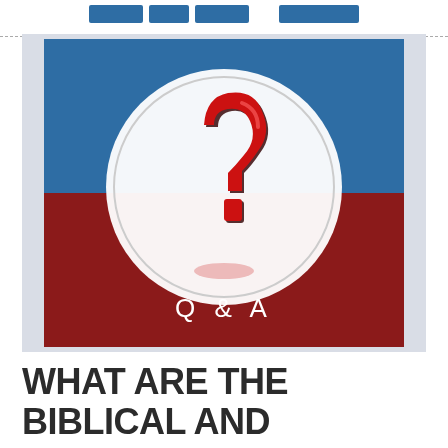[Navigation buttons]
[Figure (illustration): A Q&A graphic with a blue upper half and dark red lower half background. In the center is a white circle containing a large 3D red question mark with dark shadow. Below the circle, white text reads 'Q & A'.]
WHAT ARE THE BIBLICAL AND